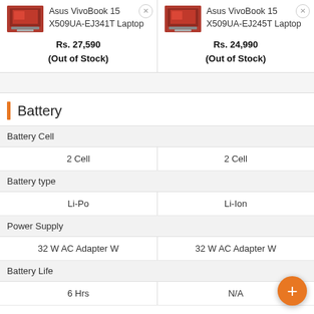Asus VivoBook 15 X509UA-EJ341T Laptop
Rs. 27,590
(Out of Stock)
Asus VivoBook 15 X509UA-EJ245T Laptop
Rs. 24,990
(Out of Stock)
Battery
|  | Col1 | Col2 |
| --- | --- | --- |
| Battery Cell |  |  |
|  | 2 Cell | 2 Cell |
| Battery type |  |  |
|  | Li-Po | Li-Ion |
| Power Supply |  |  |
|  | 32 W AC Adapter W | 32 W AC Adapter W |
| Battery Life |  |  |
|  | 6 Hrs | N/A |